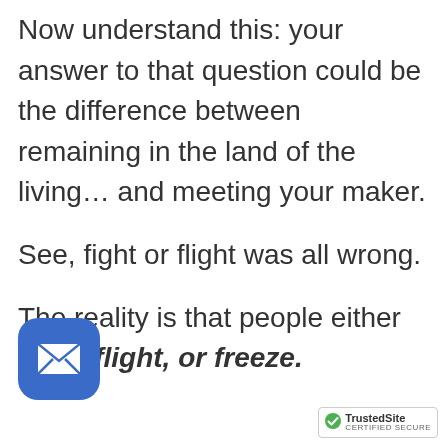Now understand this: your answer to that question could be the difference between remaining in the land of the living… and meeting your maker.
See, fight or flight was all wrong.
The reality is that people either fight, flight, or freeze.
[Figure (other): Blue rounded square mail/email button icon]
[Figure (logo): TrustedSite CERTIFIED SECURE badge with green checkmark]